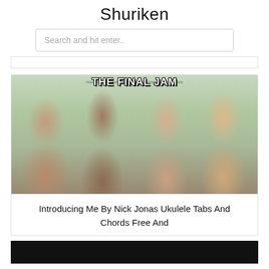Shuriken
Search and hit enter..
[Figure (photo): Promotional photo for 'Camp Rock 2: The Final Jam' showing four young people posing together with the movie title text visible at the top]
Introducing Me By Nick Jonas Ukulele Tabs And Chords Free And
[Figure (photo): Black bar at bottom of page, appears to be the top of another image or section]